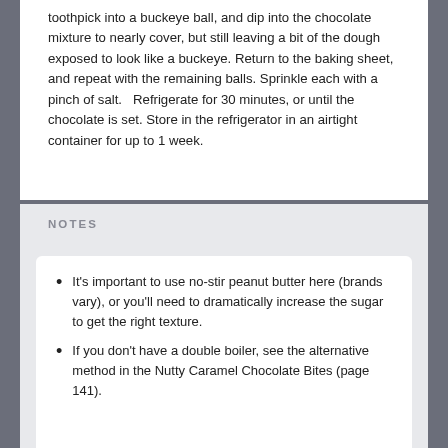toothpick into a buckeye ball, and dip into the chocolate mixture to nearly cover, but still leaving a bit of the dough exposed to look like a buckeye. Return to the baking sheet, and repeat with the remaining balls. Sprinkle each with a pinch of salt.   Refrigerate for 30 minutes, or until the chocolate is set. Store in the refrigerator in an airtight container for up to 1 week.
NOTES
It's important to use no-stir peanut butter here (brands vary), or you'll need to dramatically increase the sugar to get the right texture.
If you don't have a double boiler, see the alternative method in the Nutty Caramel Chocolate Bites (page 141).